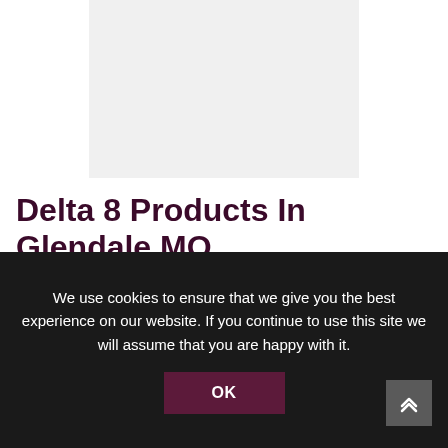[Figure (other): Light gray placeholder image at top of page]
Delta 8 Products In Glendale MO
Many cannabis consumers are turning to an obscure analogue of Delta-9-THC called Delta-8-THC. The difference between Delta-8 and Delta-9 is subtle: Both will provide you with the hallucinogenic effect, but Delta 8 is much milder than Delta 9. Many people claim that Delta-8 is a smoother, less psychoactive, less
We use cookies to ensure that we give you the best experience on our website. If you continue to use this site we will assume that you are happy with it.
OK